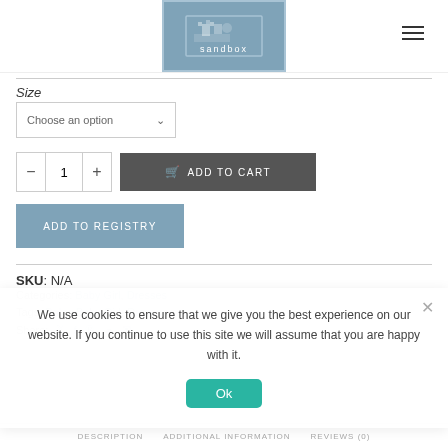sandbox
Size
Choose an option
1  ADD TO CART
ADD TO REGISTRY
SKU: N/A
Categories: Baby Girl, Dresses
Tags: Baby, Baby Girl, Dresses
Share:
We use cookies to ensure that we give you the best experience on our website. If you continue to use this site we will assume that you are happy with it.
Ok
DESCRIPTION   ADDITIONAL INFORMATION   REVIEWS (0)